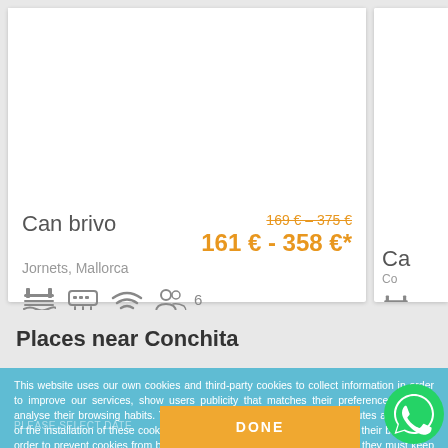Can brivo
Jornets, Mallorca
169 € - 375 €
161 € - 358 €*
Places near Conchita
This website uses our own cookies and third-party cookies to collect information in order to improve our services, show users publicity that matches their preferences, and to analyse their browsing habits. Your continued use of this website constitutes acceptance of the installation of these cookies. The user has the option of configuring their browser in order to prevent cookies from being installed on their hard drive, although they must keep in mind that doing so may cause difficulties in their use of the webpage.
You can change the settings and get more information here.
DONE
PLEASE SELECT DATE NUMBER OF GUEST